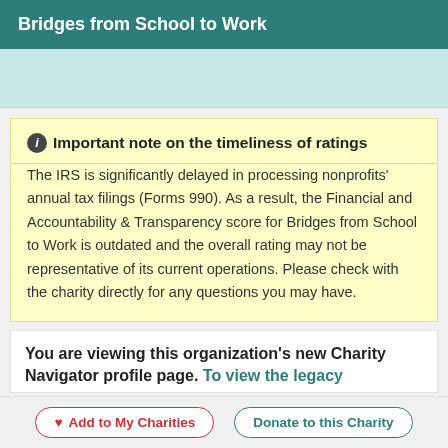Bridges from School to Work
ℹ Important note on the timeliness of ratings
The IRS is significantly delayed in processing nonprofits' annual tax filings (Forms 990). As a result, the Financial and Accountability & Transparency score for Bridges from School to Work is outdated and the overall rating may not be representative of its current operations. Please check with the charity directly for any questions you may have.
You are viewing this organization's new Charity Navigator profile page. To view the legacy
Add to My Charities
Donate to this Charity